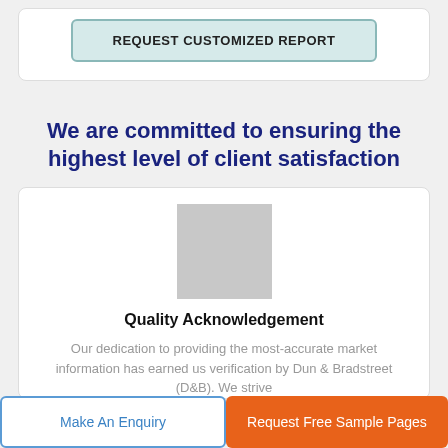[Figure (other): REQUEST CUSTOMIZED REPORT button with teal/green outline and background]
We are committed to ensuring the highest level of client satisfaction
[Figure (other): Gray square placeholder logo image]
Quality Acknowledgement
Our dedication to providing the most-accurate market information has earned us verification by Dun & Bradstreet (D&B). We strive
Make An Enquiry
Request Free Sample Pages